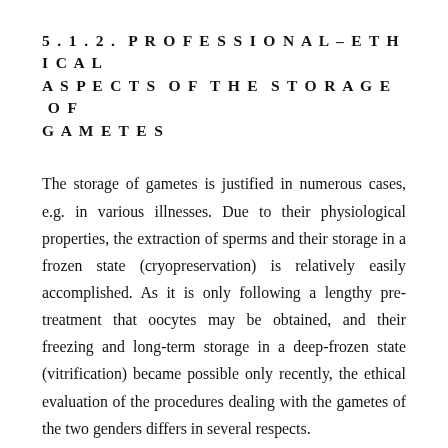5.1.2. PROFESSIONAL-ETHICAL ASPECTS OF THE STORAGE OF GAMETES
The storage of gametes is justified in numerous cases, e.g. in various illnesses. Due to their physiological properties, the extraction of sperms and their storage in a frozen state (cryopreservation) is relatively easily accomplished. As it is only following a lengthy pre-treatment that oocytes may be obtained, and their freezing and long-term storage in a deep-frozen state (vitrification) became possible only recently, the ethical evaluation of the procedures dealing with the gametes of the two genders differs in several respects.